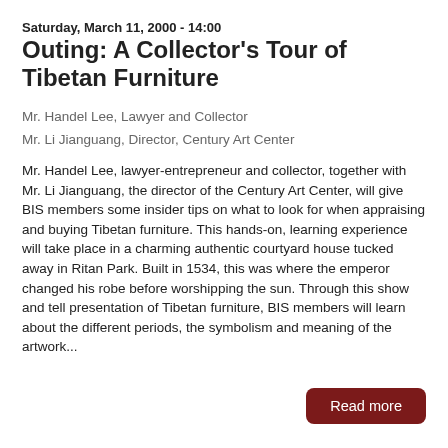Saturday, March 11, 2000 - 14:00
Outing: A Collector's Tour of Tibetan Furniture
Mr. Handel Lee, Lawyer and Collector
Mr. Li Jianguang, Director, Century Art Center
Mr. Handel Lee, lawyer-entrepreneur and collector, together with Mr. Li Jianguang, the director of the Century Art Center, will give BIS members some insider tips on what to look for when appraising and buying Tibetan furniture. This hands-on, learning experience will take place in a charming authentic courtyard house tucked away in Ritan Park. Built in 1534, this was where the emperor changed his robe before worshipping the sun. Through this show and tell presentation of Tibetan furniture, BIS members will learn about the different periods, the symbolism and meaning of the artwork...
Read more